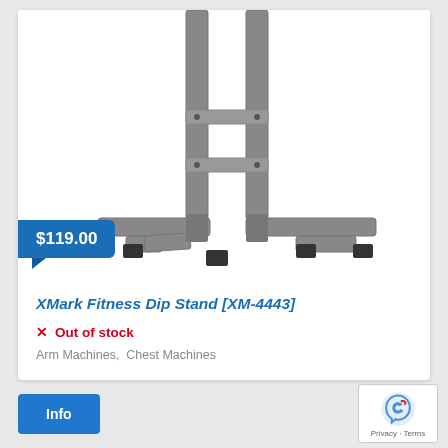[Figure (photo): Photo of XMark Fitness Dip Stand showing the steel frame base with two vertical posts, a horizontal crossbar, and four rubber-capped feet on a white background. A blue price badge showing $119.00 overlays the lower left of the image.]
XMark Fitness Dip Stand [XM-4443]
Out of stock
Arm Machines,  Chest Machines
Info